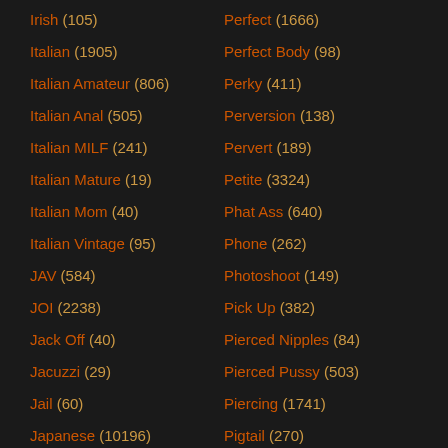Irish (105)
Perfect (1666)
Italian (1905)
Perfect Body (98)
Italian Amateur (806)
Perky (411)
Italian Anal (505)
Perversion (138)
Italian MILF (241)
Pervert (189)
Italian Mature (19)
Petite (3324)
Italian Mom (40)
Phat Ass (640)
Italian Vintage (95)
Phone (262)
JAV (584)
Photoshoot (149)
JOI (2238)
Pick Up (382)
Jack Off (40)
Pierced Nipples (84)
Jacuzzi (29)
Pierced Pussy (503)
Jail (60)
Piercing (1741)
Japanese (10196)
Pigtail (270)
Japanese Anal (691)
Piss Bukkake (16)
Japanese Big Tits (1050)
Piss Drinking (107)